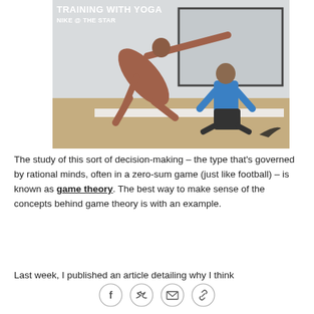[Figure (photo): Nike yoga training advertisement photo showing two athletes practicing yoga poses in a studio. A woman in a rust/brown outfit performing a side angle pose and a man in a blue shirt doing a cobra pose on yoga mats. Text overlay reads 'TRAINING WITH YOGA' and 'NIKE @ THE STAR' with Nike swoosh logo in bottom right corner.]
The study of this sort of decision-making – the type that's governed by rational minds, often in a zero-sum game (just like football) – is known as game theory. The best way to make sense of the concepts behind game theory is with an example.
Last week, I published an article detailing why I think